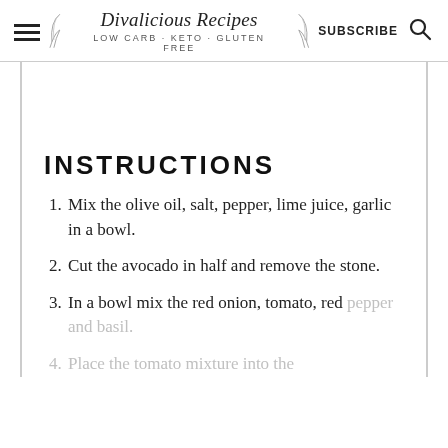Divalicious Recipes LOW CARB - KETO - GLUTEN FREE | SUBSCRIBE
[Figure (other): Blank white image area placeholder inside bordered content box]
INSTRUCTIONS
Mix the olive oil, salt, pepper, lime juice, garlic in a bowl.
Cut the avocado in half and remove the stone.
In a bowl mix the red onion, tomato, red pepper and basil.
Place the tomato mixture into the